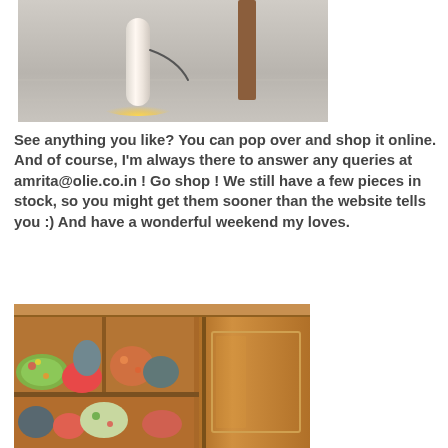[Figure (photo): A cylindrical white floor lamp glowing at its base, placed on a light gray tiled floor near a wooden stool or table leg.]
See anything you like? You can pop over and shop it online. And of course, I'm always there to answer any queries at amrita@olie.co.in ! Go shop ! We still have a few pieces in stock, so you might get them sooner than the website tells you :) And have a wonderful weekend my loves.
[Figure (photo): A wooden cabinet or armoire with open shelves on the left side filled with colorful cushions and pillows in various patterns (floral, solid red/coral, gray), and a closed wooden panel door on the right.]